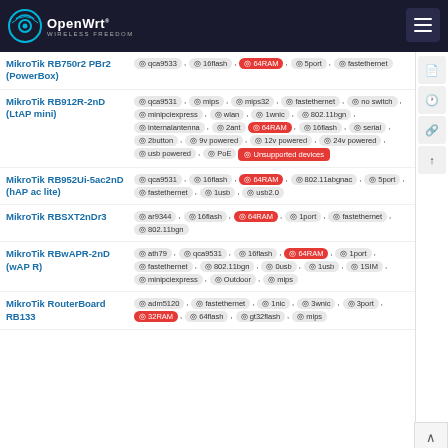OpenWrt
MikroTik RB750r2 PBr2 (PowerBox)
MikroTik RB912R-2nD (LtAP mini)
MikroTik RB952Ui-5ac2nD (hAP ac lite)
MikroTik RBSXT2nDr3
MikroTik RBwAPR-2nD (wAP R)
MikroTik RouterBoard RB133